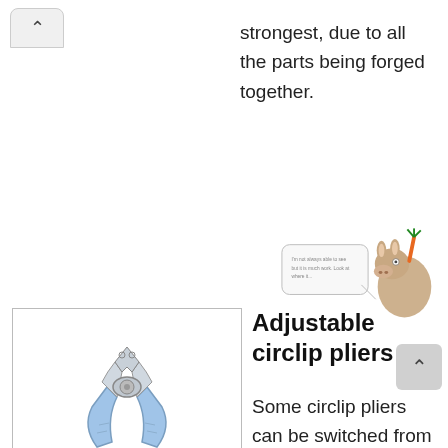strongest, due to all the parts being forged together.
[Figure (illustration): Cartoon of a donkey or mule holding a carrot with a speech bubble, illustrated character]
[Figure (photo): Photo of adjustable circlip pliers with blue handles on a white background, shown inside a bordered box]
Adjustable circlip pliers
Some circlip pliers can be switched from external to internal, which means they can be used with both types of circlip.